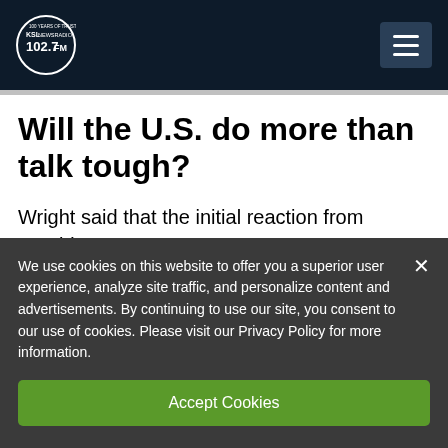KSL NewsRadio 102.7FM
Will the U.S. do more than talk tough?
Wright said that the initial reaction from President Trump was strong,
We use cookies on this website to offer you a superior user experience, analyze site traffic, and personalize content and advertisements. By continuing to use our site, you consent to our use of cookies. Please visit our Privacy Policy for more information.
Accept Cookies